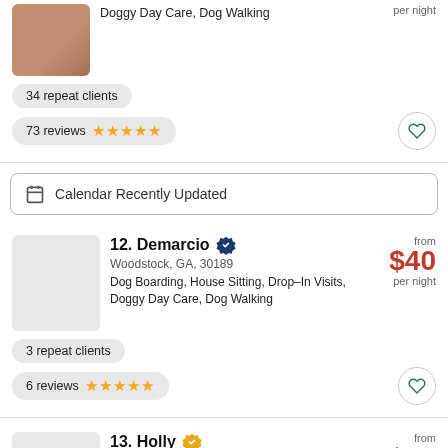Doggy Day Care, Dog Walking
per night
34 repeat clients
73 reviews ★★★★★
Calendar Recently Updated
12. Demarcio [verified] Woodstock, GA, 30189 Dog Boarding, House Sitting, Drop–In Visits, Doggy Day Care, Dog Walking from $40 per night
3 repeat clients
6 reviews ★★★★★
13. Holly [verified] Canton, G... House Sit... g Walking from $45 per night
3 repeat clients
Filters